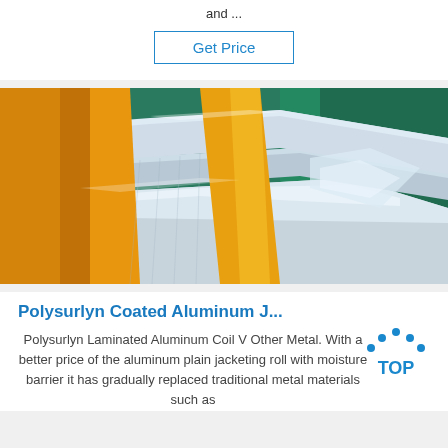and ...
Get Price
[Figure (photo): Aluminum sheets/coils stacked with orange/yellow protective wrapping and green background, industrial warehouse setting]
Polysurlyn Coated Aluminum J...
Polysurlyn Laminated Aluminum Coil V Other Metal. With a better price of the aluminum plain jacketing roll with moisture barrier it has gradually replaced traditional metal materials such as